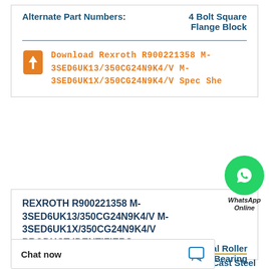Alternate Part Numbers: 4 Bolt Square Flange Block
Download Rexroth R900221358 M-3SED6UK13/350CG24N9K4/V M-3SED6UK1X/350CG24N9K4/V Spec She...
[Figure (logo): WhatsApp Online green circle icon with phone symbol and label 'WhatsApp Online']
REXROTH R900221358 M-3SED6UK13/350CG24N9K4/V M-3SED6UK1X/350CG24N9K4/V PRODUCT IDENTIFIERS
Ring Size: Spherical Roller Bearing
Chat now
Cast Steel